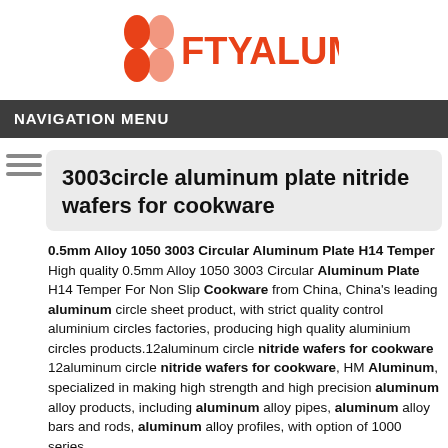[Figure (logo): FTYAluminum logo with orange icon (four rounded shapes) and orange bold text FTYALUMINUM]
NAVIGATION MENU
3003circle aluminum plate nitride wafers for cookware
0.5mm Alloy 1050 3003 Circular Aluminum Plate H14 Temper High quality 0.5mm Alloy 1050 3003 Circular Aluminum Plate H14 Temper For Non Slip Cookware from China, China's leading aluminum circle sheet product, with strict quality control aluminium circles factories, producing high quality aluminium circles products.12aluminum circle nitride wafers for cookware 12aluminum circle nitride wafers for cookware, HM Aluminum, specialized in making high strength and high precision aluminum alloy products, including aluminum alloy pipes, aluminum alloy bars and rods, aluminum alloy profiles, with option of 1000 series,